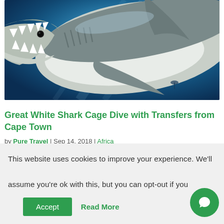[Figure (photo): Close-up underwater photo of a great white shark with open jaws, viewed from the side, against a deep blue ocean background.]
Great White Shark Cage Dive with Transfers from Cape Town
by Pure Travel | Sep 14, 2018 | Africa
This website uses cookies to improve your experience. We'll assume you're ok with this, but you can opt-out if you
Accept
Read More